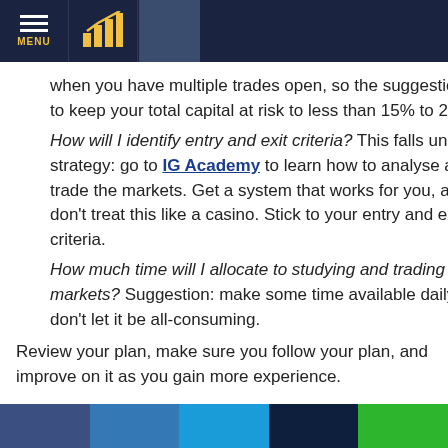MENU [navigation bar with logo and nav boxes]
when you have multiple trades open, so the suggestion is to keep your total capital at risk to less than 15% to 20%. How will I identify entry and exit criteria? This falls under strategy: go to IG Academy to learn how to analyse and trade the markets. Get a system that works for you, and don't treat this like a casino. Stick to your entry and exit criteria. How much time will I allocate to studying and trading the markets? Suggestion: make some time available daily, but don't let it be all-consuming.
Review your plan, make sure you follow your plan, and improve on it as you gain more experience.
[color bar: navy, steel blue, sky blue, dark navy, green]